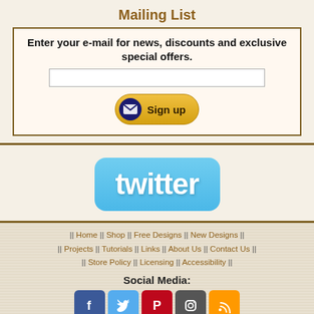Mailing List
Enter your e-mail for news, discounts and exclusive special offers.
[Figure (infographic): Email sign up button with envelope icon and 'Sign up' text on a gold/yellow rounded button]
[Figure (logo): Twitter logo badge with light blue rounded rectangle background and white 'twitter' text]
|| Home || Shop || Free Designs || New Designs || || Projects || Tutorials || Links || About Us || Contact Us || || Store Policy || Licensing || Accessibility ||
Social Media:
[Figure (infographic): Social media icons: Facebook (blue), Twitter (light blue), Pinterest (red), Instagram (dark gray), RSS (orange)]
Copyright © Advanced Embroidery Designs. All Rights Reserved.